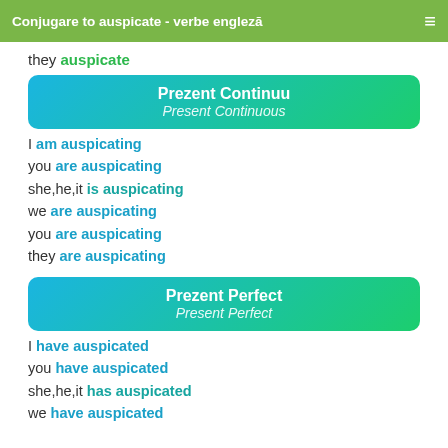Conjugare to auspicate - verbe engleză
they auspicate
Prezent Continuu / Present Continuous
I am auspicating
you are auspicating
she,he,it is auspicating
we are auspicating
you are auspicating
they are auspicating
Prezent Perfect / Present Perfect
I have auspicated
you have auspicated
she,he,it has auspicated
we have auspicated